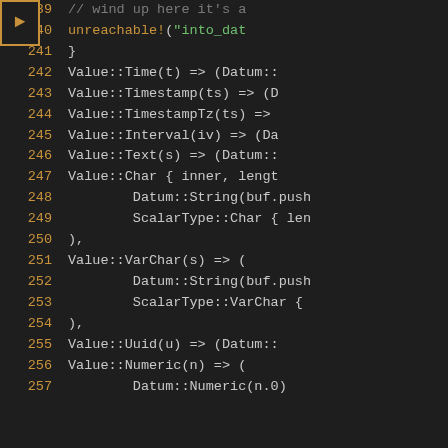[Figure (screenshot): Code editor screenshot showing Rust source code lines 239-257 with line numbers in orange/amber, code in light gray, comments in dark gray, a string literal in green, and a debug arrow marker on lines 39-40]
239  // wind up here it's a
240  unreachable!("into_dat
241  }
242  Value::Time(t) => (Datum::
243  Value::Timestamp(ts) => (D
244  Value::TimestampTz(ts) =>
245  Value::Interval(iv) => (Da
246  Value::Text(s) => (Datum::
247  Value::Char { inner, lengt
248  Datum::String(buf.push
249  ScalarType::Char { len
250  ),
251  Value::VarChar(s) => (
252  Datum::String(buf.push
253  ScalarType::VarChar {
254  ),
255  Value::Uuid(u) => (Datum::
256  Value::Numeric(n) => (
257  Datum::Numeric(n.0)